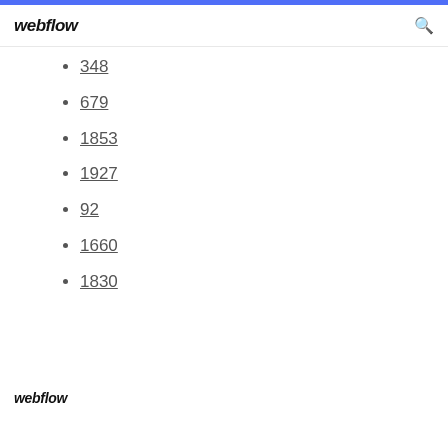webflow
348
679
1853
1927
92
1660
1830
webflow